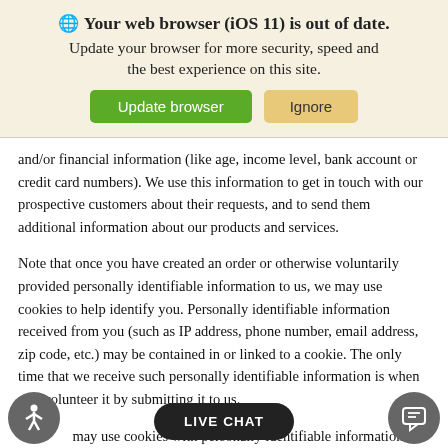[Figure (screenshot): Browser update notification banner with globe icon, bold title 'Your web browser (iOS 11) is out of date.', subtitle 'Update your browser for more security, speed and the best experience on this site.', and two buttons: green 'Update browser' and tan 'Ignore'.]
and/or financial information (like age, income level, bank account or credit card numbers). We use this information to get in touch with our prospective customers about their requests, and to send them additional information about our products and services.
Note that once you have created an order or otherwise voluntarily provided personally identifiable information to us, we may use cookies to help identify you. Personally identifiable information received from you (such as IP address, phone number, email address, zip code, etc.) may be contained in or linked to a cookie. The only time that we receive such personally identifiable information is when you volunteer it by submitting it to us.
...may use cookies with personally identifiable information so that our website can remember you, enhance... us... provide you with the information you're looking for. For internet cookies, allow our website to remind you of...